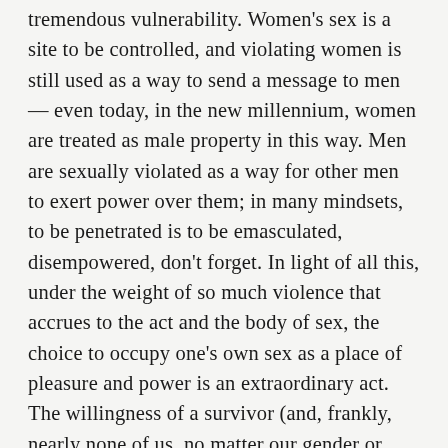tremendous vulnerability. Women's sex is a site to be controlled, and violating women is still used as a way to send a message to men — even today, in the new millennium, women are treated as male property in this way. Men are sexually violated as a way for other men to exert power over them; in many mindsets, to be penetrated is to be emasculated, disempowered, don't forget. In light of all this, under the weight of so much violence that accrues to the act and the body of sex, the choice to occupy one's own sex as a place of pleasure and power is an extraordinary act. The willingness of a survivor (and, frankly, nearly none of us, no matter our gender or sexuality, can grow up with our sex unscathed, even if we weren't directly physically violated) to walk through the fire back toward one's own fully-embodied erotic self is an act of radical self care and also an act of resistance to and in a culture that would have us view sex as merely a